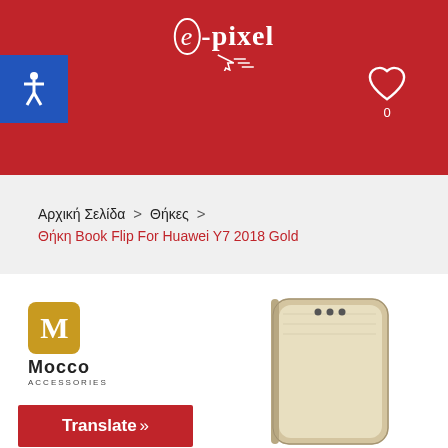e-pixel
[Figure (logo): Mocco Accessories logo with gold M box and text]
Αρχική Σελίδα > Θήκες > Θήκη Book Flip For Huawei Y7 2018 Gold
[Figure (photo): Gold book flip phone case for Huawei Y7 2018]
Translate »